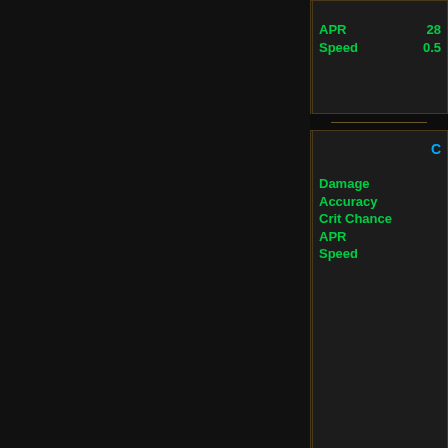APR  28
Speed  0.5
C (item name, truncated cyan)
Damage
Accuracy
Crit Chance
APR
Speed
Spellpower  11.
Crit Chance  13
Speed  1
Mindpower  52
Crit Ch...